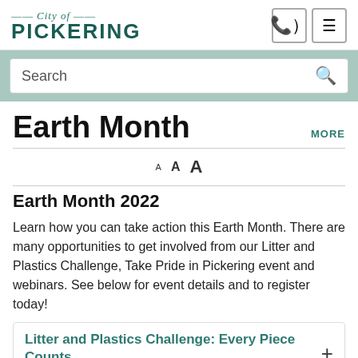City of PICKERING
Search
Earth Month
MORE
Earth Month 2022
Learn how you can take action this Earth Month. There are many opportunities to get involved from our Litter and Plastics Challenge, Take Pride in Pickering event and webinars. See below for event details and to register today!
Litter and Plastics Challenge: Every Piece Counts